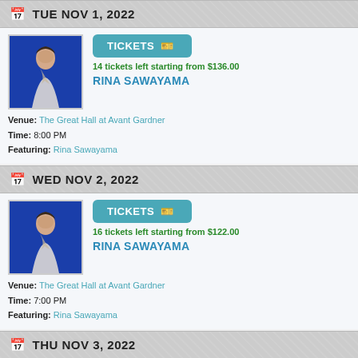TUE NOV 1, 2022
[Figure (photo): Rina Sawayama promotional photo on blue background]
TICKETS
14 tickets left starting from $136.00
RINA SAWAYAMA
Venue: The Great Hall at Avant Gardner
Time: 8:00 PM
Featuring: Rina Sawayama
WED NOV 2, 2022
[Figure (photo): Rina Sawayama promotional photo on blue background]
TICKETS
16 tickets left starting from $122.00
RINA SAWAYAMA
Venue: The Great Hall at Avant Gardner
Time: 7:00 PM
Featuring: Rina Sawayama
THU NOV 3, 2022
TICKETS